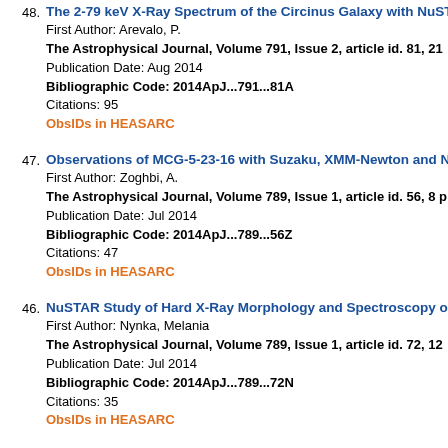48. The 2-79 keV X-Ray Spectrum of the Circinus Galaxy with NuSTA...
First Author: Arevalo, P.
The Astrophysical Journal, Volume 791, Issue 2, article id. 81, 21...
Publication Date: Aug 2014
Bibliographic Code: 2014ApJ...791...81A
Citations: 95
ObsIDs in HEASARC
47. Observations of MCG-5-23-16 with Suzaku, XMM-Newton and Nu...
First Author: Zoghbi, A.
The Astrophysical Journal, Volume 789, Issue 1, article id. 56, 8 p...
Publication Date: Jul 2014
Bibliographic Code: 2014ApJ...789...56Z
Citations: 47
ObsIDs in HEASARC
46. NuSTAR Study of Hard X-Ray Morphology and Spectroscopy of P...
First Author: Nynka, Melania
The Astrophysical Journal, Volume 789, Issue 1, article id. 72, 12...
Publication Date: Jul 2014
Bibliographic Code: 2014ApJ...789...72N
Citations: 35
ObsIDs in HEASARC
45. NuSTAR Observations of the Magnetar 1E 2259+586
First Author: Vogel, Julia K.
The Astrophysical Journal, Volume 789, Issue 1, article id. 75, 11...
Publication Date: Jul 2014
Bibliographic Code: 2014ApJ...789...75V